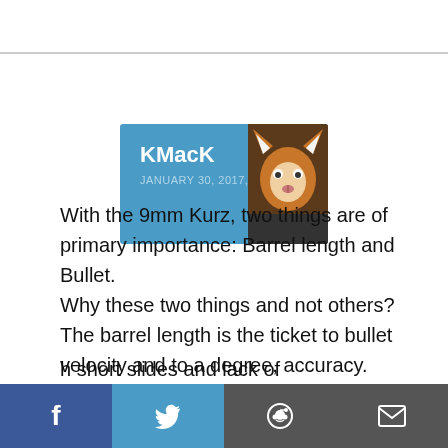[Figure (other): User profile card with username KMacK, date January 30, 2017, 2:55 PM, and fox avatar image on blue background]
With the 9mm Kurz, two things are of primary importance: Barrel length and Bullet.
Why these two things and not others? The barrel length is the ticket to bullet velocity and to a degree, accuracy. Sadly, today the makers of most .380acp pistols stick a barrel on their offering that would be considered short in a .38 Special (which has much more powder than the .380acp does. Short barrels affect accuracy too, magnifying the degree aiming error significantly.
...h short slides and lack of
[Figure (other): Social sharing bar at bottom with Facebook (blue), Twitter (light blue), Reddit (dark grey), and Email (dark grey) buttons]